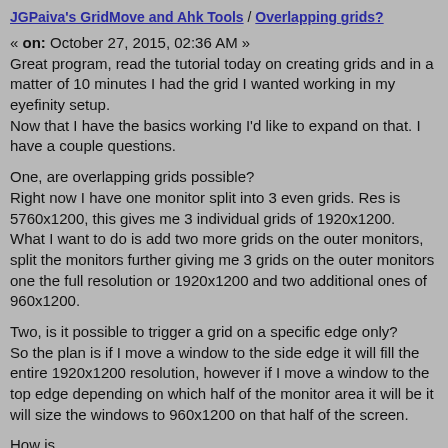JGPaiva's GridMove and Ahk Tools / Overlapping grids?
« on: October 27, 2015, 02:36 AM »
Great program, read the tutorial today on creating grids and in a matter of 10 minutes I had the grid I wanted working in my eyefinity setup.
Now that I have the basics working I'd like to expand on that. I have a couple questions.

One, are overlapping grids possible?
Right now I have one monitor split into 3 even grids. Res is 5760x1200, this gives me 3 individual grids of 1920x1200.
What I want to do is add two more grids on the outer monitors, split the monitors further giving me 3 grids on the outer monitors one the full resolution or 1920x1200 and two additional ones of 960x1200.

Two, is it possible to trigger a grid on a specific edge only?
So the plan is if I move a window to the side edge it will fill the entire 1920x1200 resolution, however if I move a window to the top edge depending on which half of the monitor area it will be it will size the windows to 960x1200 on that half of the screen.